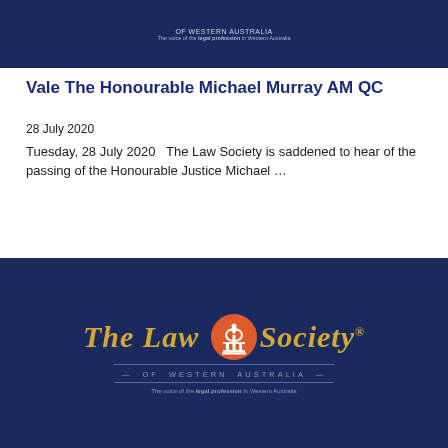[Figure (logo): The Law Society of Western Australia logo on dark navy background — top header banner]
Vale The Honourable Michael Murray AM QC
28 July 2020
Tuesday, 28 July 2020   The Law Society is saddened to hear of the passing of the Honourable Justice Michael …
Read more
[Figure (logo): The Law Society of Western Australia logo on dark navy background — footer banner with golden italic text and orange emblem]